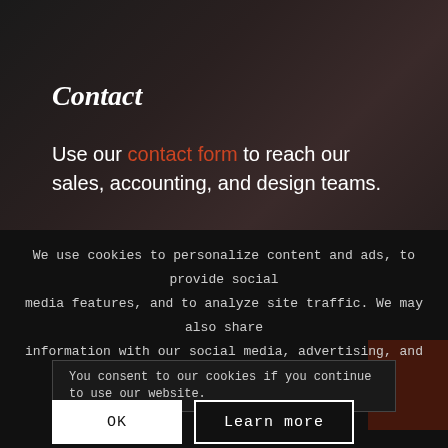Contact
Use our contact form to reach our sales, accounting, and design teams.
We use cookies to personalize content and ads, to provide social media features, and to analyze site traffic. We may also share information with our social media, advertising, and analytics partners.
You consent to our cookies if you continue to use our website.
OK
Learn more